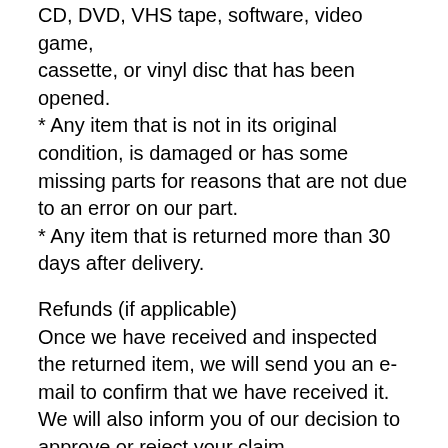CD, DVD, VHS tape, software, video game, cassette, or vinyl disc that has been opened.
* Any item that is not in its original condition, is damaged or has some missing parts for reasons that are not due to an error on our part.
* Any item that is returned more than 30 days after delivery.
Refunds (if applicable)
Once we have received and inspected the returned item, we will send you an e-mail to confirm that we have received it. We will also inform you of our decision to approve or reject your claim.
If your request is approved, then your refund will be processed, and credit will automatically be applied to your credit card or original payment method, within a certain number of days.